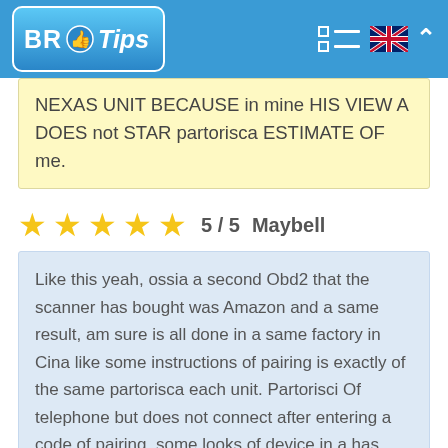BR Tips
NEXAS UNIT BECAUSE in mine HIS VIEW A DOES not STAR partorisca ESTIMATE OF me.
★★★★★ 5 / 5  Maybell
Like this yeah, ossia a second Obd2 that the scanner has bought was Amazon and a same result, am sure is all done in a same factory in Cina like some instructions of pairing is exactly of the same partorisca each unit. Partorisci Of telephone but does not connect after entering a code of pairing, some looks of device in a has connected cost of devices, but when you press in